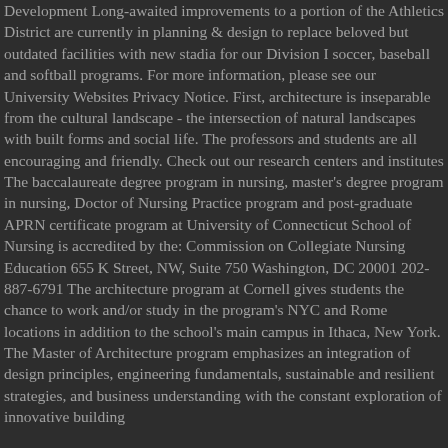Development Long-awaited improvements to a portion of the Athletics District are currently in planning & design to replace beloved but outdated facilities with new stadia for our Division I soccer, baseball and softball programs. For more information, please see our University Websites Privacy Notice. First, architecture is inseparable from the cultural landscape - the intersection of natural landscapes with built forms and social life. The professors and students are all encouraging and friendly. Check out our research centers and institutes The baccalaureate degree program in nursing, master's degree program in nursing, Doctor of Nursing Practice program and post-graduate APRN certificate program at University of Connecticut School of Nursing is accredited by the: Commission on Collegiate Nursing Education 655 K Street, NW, Suite 750 Washington, DC 20001 202-887-6791 The architecture program at Cornell gives students the chance to work and/or study in the program's NYC and Rome locations in addition to the school's main campus in Ithaca, New York. The Master of Architecture program emphasizes an integration of design principles, engineering fundamentals, sustainable and resilient strategies, and business understanding with the constant exploration of innovative building